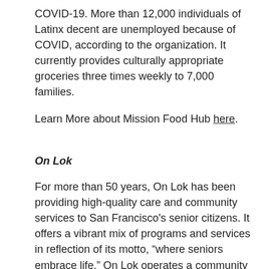COVID-19. More than 12,000 individuals of Latinx decent are unemployed because of COVID, according to the organization. It currently provides culturally appropriate groceries three times weekly to 7,000 families.
Learn More about Mission Food Hub here.
On Lok
For more than 50 years, On Lok has been providing high-quality care and community services to San Francisco's senior citizens. It offers a vibrant mix of programs and services in reflection of its motto, “where seniors embrace life.” On Lok operates a community senior center with free meals, fitness and arts classes, educational workshops and private garden. It also offers the “Program of All-Inclusive Care for the Elderly” or PACE, which gives broad-based support services that